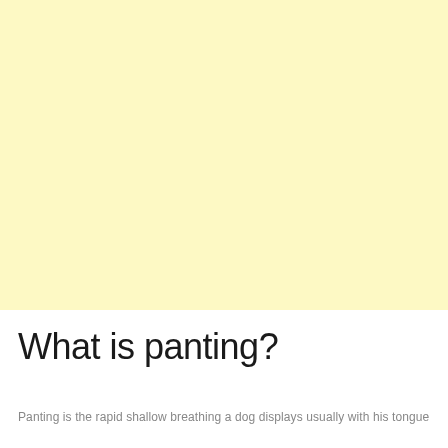[Figure (other): Large yellow-cream colored rectangular background block filling the top portion of the page.]
What is panting?
Panting is the rapid shallow breathing a dog displays usually with his tongue